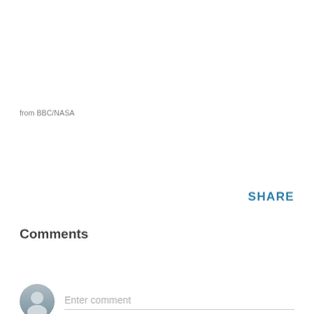from BBC/NASA
SHARE
Comments
Enter comment